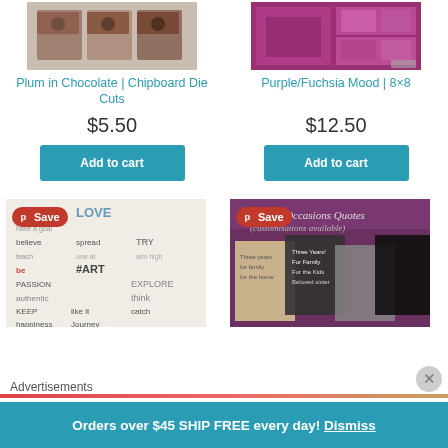[Figure (photo): Product image of Plum in Chocolate Chipboard Die Cuts]
[Figure (photo): Product image of Purple/Fuchsia Mood 8x8 paper]
Plum in Chocolate | Chipboard Die Cuts
Purple/Fuchsia Mood | 8×8
$5.50
$12.50
Add to cart
Add to cart
[Figure (photo): Stamps/word art product with Pinterest Save button]
[Figure (photo): Special Occasions Quotes product with Pinterest Save button]
Advertisements
Orders over $45 SHIP FREE every day! Dismiss